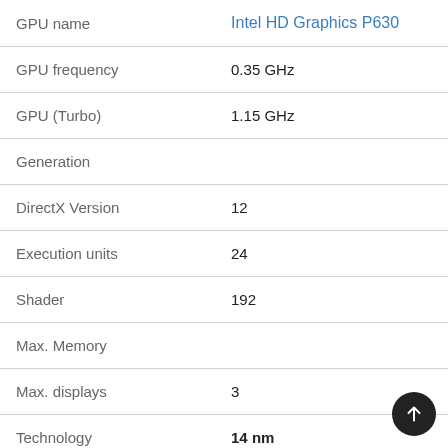| Property | Value |
| --- | --- |
| GPU name | Intel HD Graphics P630 |
| GPU frequency | 0.35 GHz |
| GPU (Turbo) | 1.15 GHz |
| Generation |  |
| DirectX Version | 12 |
| Execution units | 24 |
| Shader | 192 |
| Max. Memory |  |
| Max. displays | 3 |
| Technology | 14 nm |